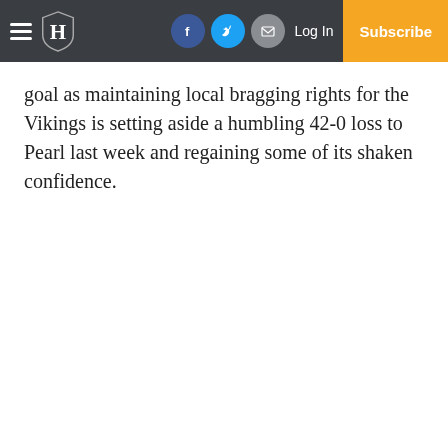Navigation bar with hamburger menu, newspaper logo, Facebook, Twitter, Email icons, Log In, Subscribe
goal as maintaining local bragging rights for the Vikings is setting aside a humbling 42-0 loss to Pearl last week and regaining some of its shaken confidence.
[Figure (illustration): Advertisement for Staffing Solutions, Ltd. — teal and white ad with bold italic STAFFING header, subtitle SOLUTIONS, LTD., body text about helping people find employment, LOCALLY OWNED AND OPERATED tagline, teal footer with address 2566 S. Frontage Rd Suite C Vicksburg, MS 39183 and phone 601.630.9966]